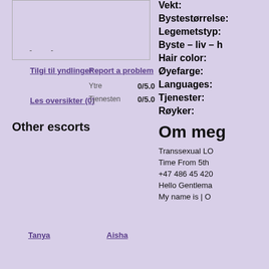[Figure (photo): Empty image box with dashes]
Tilgi til yndlinger
Report a problem
Ytre 0/5.0
Les oversikter (0)
Tjenesten 0/5.0
Other escorts
Tanya
Aisha
Vekt:
Bystestørrelse:
Legemetstyp:
Byste – liv – h
Hair color:
Øyefarge:
Languages:
Tjenester:
Røyker:
Om meg
Transsexual LO
Time From 5th
+47 486 45 420
Hello Gentlema
My name is | O